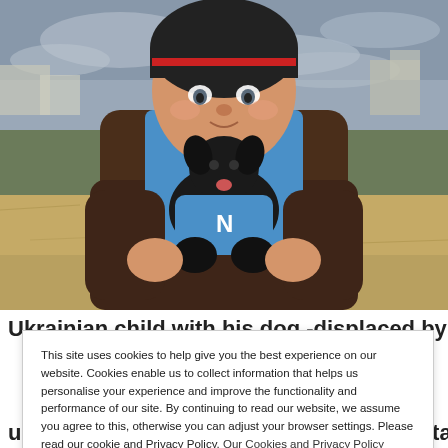[Figure (photo): A young Ukrainian child wearing a dark Reebok beanie and brown jacket, holding a small black dog dressed in a blue outfit, standing in a dry grassy field with an overcast sky and buildings in the background.]
Ukrainian child with his dog -displaced by war to a
This site uses cookies to help give you the best experience on our website. Cookies enable us to collect information that helps us personalise your experience and improve the functionality and performance of our site. By continuing to read our website, we assume you agree to this, otherwise you can adjust your browser settings. Please read our cookie and Privacy Policy. Our Cookies and Privacy Policy
unfortunately equipment for doing amputations, for